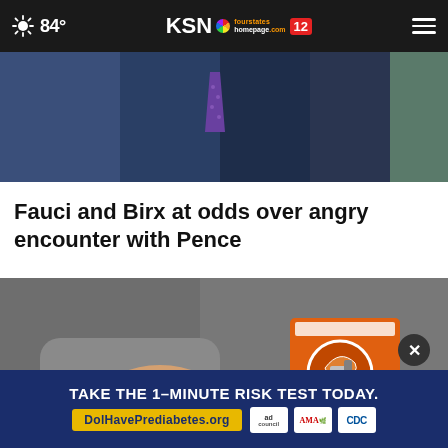84° KSN fourstates homepage .com 12
[Figure (photo): Cropped photo of person in dark suit with purple polka-dot tie]
Fauci and Birx at odds over angry encounter with Pence
[Figure (photo): Person wearing grey jacket holding an orange Arm & Hammer baking soda box and a white spoon over a glass bowl. Advertisement overlay at bottom: TAKE THE 1-MINUTE RISK TEST TODAY. DolHavePrediabetes.org with Ad Council, AMA, and CDC logos.]